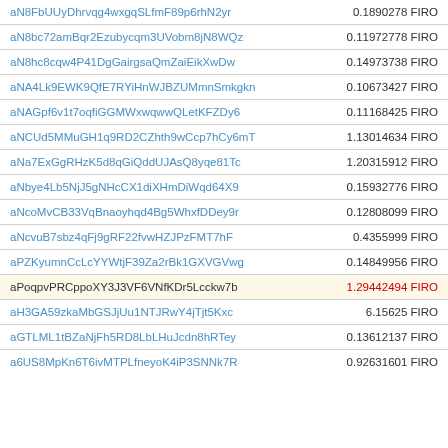| Address | Amount |
| --- | --- |
| aN8FbUUyDhrvqg4wxgqSLfmF89p6rhN2yr | 0.1890278 FIRO |
| aN8bc72amBqr2Ezubycqm3UVobm8jN8WQz | 0.11972778 FIRO |
| aN8hc8cqw4P41DgGairgsaQmZaiEikXwDw | 0.14973738 FIRO |
| aNA4Lk9EWK9QfE7RYiHnWJBZUMmnSmkgkn | 0.10673427 FIRO |
| aNAGpf6v1t7oqfiGGMWxwqwwQLetKFZDy6 | 0.11168425 FIRO |
| aNCUd5MMuGH1q9RD2CZhth9wCcp7hCy6mT | 1.13014634 FIRO |
| aNa7ExGgRHzK5d8qGiQddUJAsQ8yqe81Tc | 1.20315912 FIRO |
| aNbye4Lb5NjJ5gNHcCX1diXHmDiWqd64X9 | 0.15932776 FIRO |
| aNcoMvCB33VqBnaoyhqd4Bg5WhxfDDey9r | 0.12808099 FIRO |
| aNcvuB7sbz4qFj9gRF22fvwHZJPzFMT7hF | 0.4355999 FIRO |
| aPZKyumnCcLcYYWtjF39Za2rBk1GXVGVwg | 0.14849956 FIRO |
| aPoqpvPRCppoXY3J3VF6VNfKDr5Lcckw7b | 1.29442494 FIRO |
| aH3GA59zkaMbGSJjUu1NTJRwY4jTjt5Kxc | 6.15625 FIRO |
| aGTLML1tBZaNjFh5RD8LbLHuJcdn8hRTey | 0.13612137 FIRO |
| a6US8MpKn6T6ivMTPLfneyoK4iP3SNNk7R | 0.92631601 FIRO |